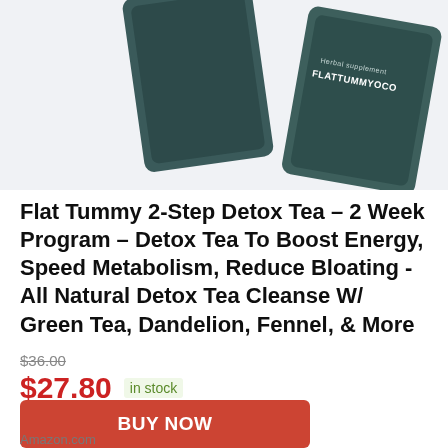[Figure (photo): Product photo of Flat Tummy Co herbal supplement tea packets in dark teal/green packaging, partially cropped at top]
Flat Tummy 2-Step Detox Tea – 2 Week Program – Detox Tea To Boost Energy, Speed Metabolism, Reduce Bloating - All Natural Detox Tea Cleanse W/ Green Tea, Dandelion, Fennel, & More
$36.00 (strikethrough) $27.80 in stock
BUY NOW
Amazon.com